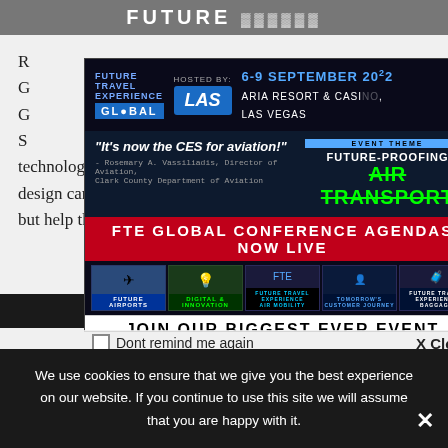[Figure (screenshot): Future Travel Experience Global conference advertisement popup modal overlay on a website. Shows FTE Global branding, 6-9 September 2022 at ARIA Resort & Casino Las Vegas, event theme Future-Proofing Air Transport, FTE Global Conference Agendas Now Live banner, conference track icons, Join Our Biggest Ever Event CTA, Early Bird Extended offer ending Friday 26th August midnight BST, Register Now button.]
technology in the future of travel. Good design can make travel not only fun and exciting, but help the industry identify new revenue
We use cookies to ensure that we give you the best experience on our website. If you continue to use this site we will assume that you are happy with it.